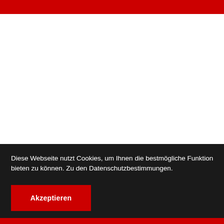Diese Webseite nutzt Cookies, um Ihnen die bestmögliche Funktion bieten zu können. Zu den Datenschutzbestimmungen.
Akzeptieren